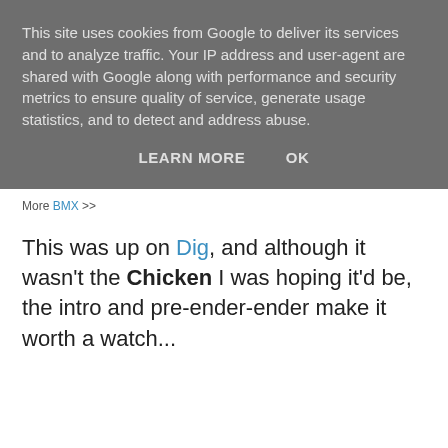This site uses cookies from Google to deliver its services and to analyze traffic. Your IP address and user-agent are shared with Google along with performance and security metrics to ensure quality of service, generate usage statistics, and to detect and address abuse.
LEARN MORE   OK
More BMX >>
This was up on Dig, and although it wasn't the Chicken I was hoping it'd be, the intro and pre-ender-ender make it worth a watch...